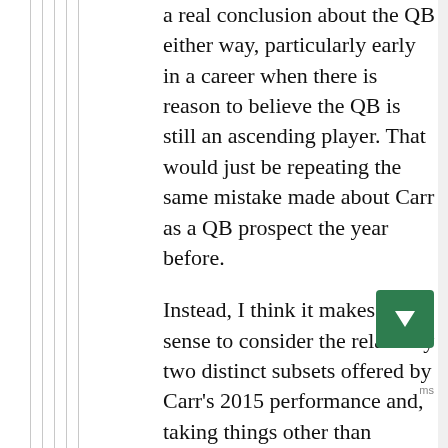a real conclusion about the QB either way, particularly early in a career when there is reason to believe the QB is still an ascending player. That would just be repeating the same mistake made about Carr as a QB prospect the year before.

Instead, I think it makes more sense to consider the relatively two distinct subsets offered by Carr's 2015 performance and, taking things other than advanced stats into consideration, see what they me about Carr's chances. And I think they reveal a more positive view of Carr as a QB in